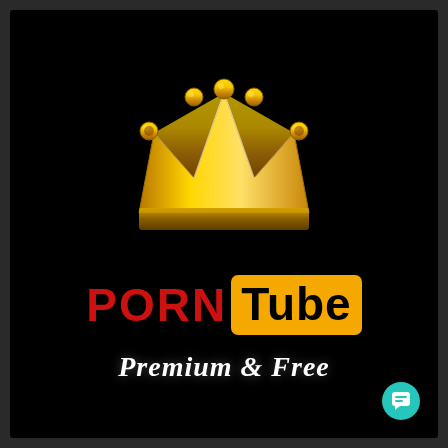[Figure (logo): Gold crown illustration on black background]
PORN Tube
Premium & Free
[Figure (illustration): Teal circular chat/message icon in bottom right corner]